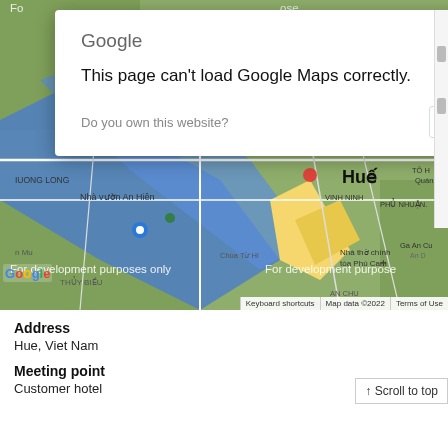[Figure (screenshot): Google Maps screenshot showing Hue, Viet Nam area with a dialog overlay saying 'This page can't load Google Maps correctly.' with an OK button. Map shows river, streets, and city labels including Hue, Nha Vuo̒n An Hiên, Nha tho̒ chinh tòa Phu Cam, VINH NINH, PHU NHUAN, THUONG LONG, KIM LONG, Ga An Cu, THUY BIEU, TRUONG AN. Watermarks say 'For development purposes only'. Bottom bar shows Keyboard shortcuts, Map data ©2022, Terms of Use. Google logo bottom left.]
Address
Hue, Viet Nam
Meeting point
Customer hotel
↑ Scroll to top